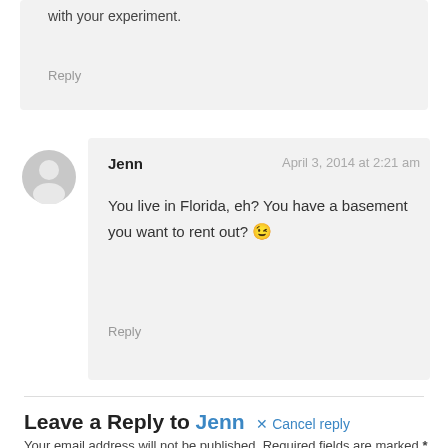with your experiment.
Reply
[Figure (illustration): Gray default user avatar icon (silhouette of a person)]
Jenn
April 3, 2014 at 2:21 am
You live in Florida, eh? You have a basement you want to rent out? 😉
Reply
Leave a Reply to Jenn  ✕ Cancel reply
Your email address will not be published. Required fields are marked *